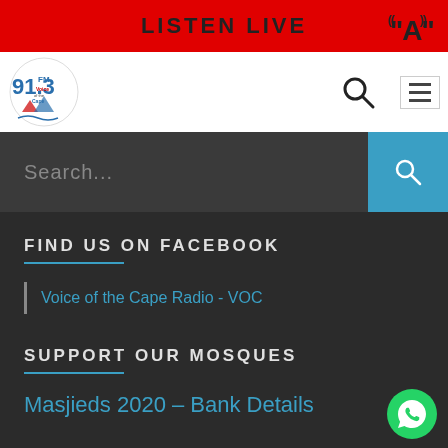LISTEN LIVE
[Figure (logo): 91.3 FM Voice of the Cape radio station logo]
Search...
FIND US ON FACEBOOK
Voice of the Cape Radio - VOC
SUPPORT OUR MOSQUES
Masjieds 2020 – Bank Details